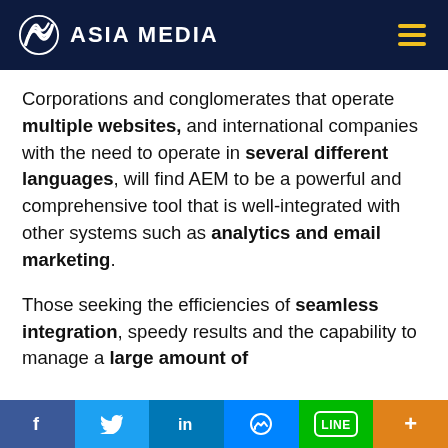ASIA MEDIA
Corporations and conglomerates that operate multiple websites, and international companies with the need to operate in several different languages, will find AEM to be a powerful and comprehensive tool that is well-integrated with other systems such as analytics and email marketing.
Those seeking the efficiencies of seamless integration, speedy results and the capability to manage a large amount of
f  Twitter  in  Messenger  LINE  +